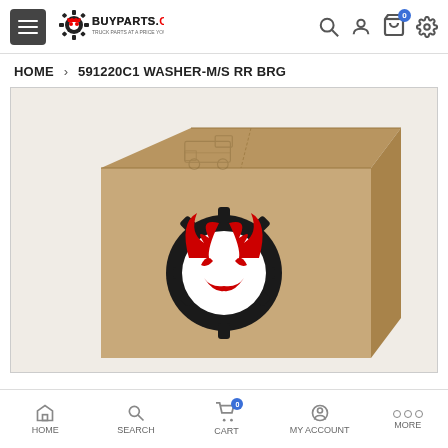BUYPARTS.ONLINE — Navigation bar with hamburger menu, logo, search, account, cart, settings
HOME > 591220C1 WASHER-M/S RR BRG
[Figure (photo): Product image showing a brown cardboard box with a BuyParts.Online logo (devil gear mascot in red and black) printed on the front, and a faint truck graphic on the top flap.]
HOME | SEARCH | CART | MY ACCOUNT | MORE